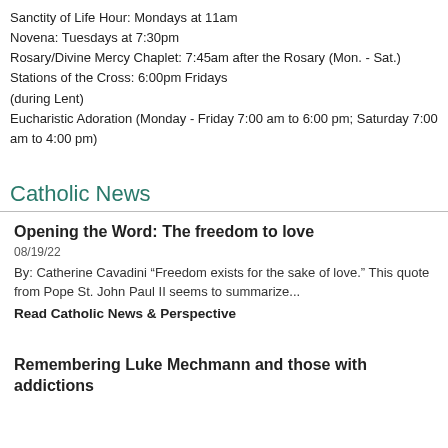Sanctity of Life Hour: Mondays at 11am
Novena: Tuesdays at 7:30pm
Rosary/Divine Mercy Chaplet: 7:45am after the Rosary (Mon. - Sat.)
Stations of the Cross: 6:00pm Fridays
(during Lent)
Eucharistic Adoration (Monday - Friday 7:00 am to 6:00 pm; Saturday 7:00 am to 4:00 pm)
Catholic News
Opening the Word: The freedom to love
08/19/22
By: Catherine Cavadini “Freedom exists for the sake of love.” This quote from Pope St. John Paul II seems to summarize...
Read Catholic News & Perspective
Remembering Luke Mechmann and those with addictions